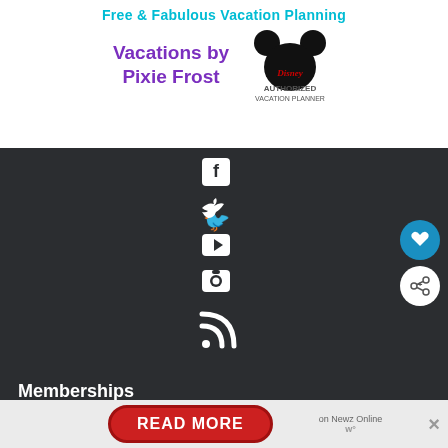Free & Fabulous Vacation Planning
Vacations by Pixie Frost
[Figure (logo): Authorized Disney Vacation Planner logo with Mickey Mouse silhouette]
[Figure (infographic): Dark background panel with social media icons: Facebook, Twitter, YouTube, Camera/Instagram, RSS feed]
[Figure (other): Floating heart button (blue circle) and share button (white circle with share icon)]
Memberships
[Figure (logo): Blog Media Brand hexagon badge logo, partially visible]
READ MORE
on Newz Online